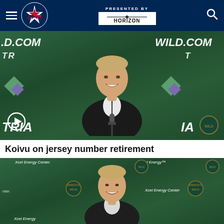Columbus Blue Jackets website header — PRESENTED BY HORIZON
[Figure (photo): Man in black zip-up sweater smiling at press conference in front of a green Minnesota Wild branded backdrop with TRIA and WILD.COM sponsor logos; play button overlay in lower left]
Koivu on jersey number retirement
[Figure (photo): Same man smiling at Xcel Energy Center press conference backdrop with Minnesota Wild logos]